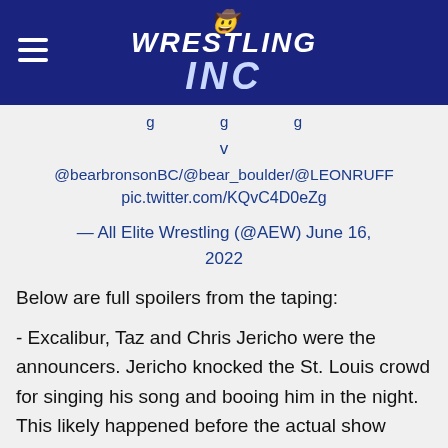Wrestling Inc
@bearbronsonBC/@bear_boulder/@LEONRUFF pic.twitter.com/KQvC4D0eZg
— All Elite Wrestling (@AEW) June 16, 2022
Below are full spoilers from the taping:
- Excalibur, Taz and Chris Jericho were the announcers. Jericho knocked the St. Louis crowd for singing his song and booing him in the night. This likely happened before the actual show began taping.